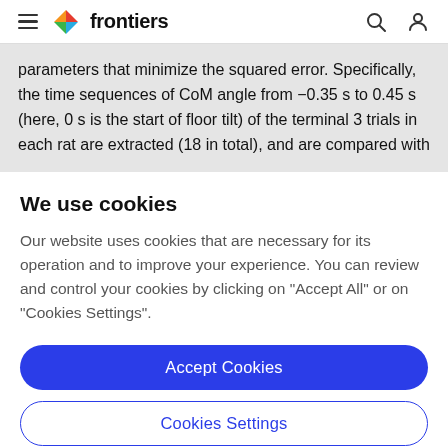frontiers
parameters that minimize the squared error. Specifically, the time sequences of CoM angle from −0.35 s to 0.45 s (here, 0 s is the start of floor tilt) of the terminal 3 trials in each rat are extracted (18 in total), and are compared with
We use cookies
Our website uses cookies that are necessary for its operation and to improve your experience. You can review and control your cookies by clicking on "Accept All" or on "Cookies Settings".
Accept Cookies
Cookies Settings